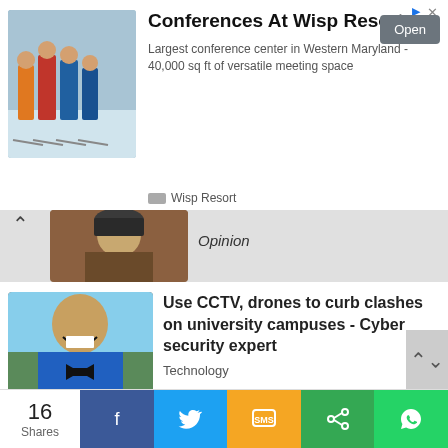[Figure (screenshot): Advertisement banner for Wisp Resort conferences]
Conferences At Wisp Resort
Largest conference center in Western Maryland - 40,000 sq ft of versatile meeting space
Wisp Resort
[Figure (photo): Person wearing a hat, partial view - Opinion article thumbnail]
Opinion
[Figure (photo): Man in academic regalia laughing - CCTV drones article thumbnail]
Use CCTV, drones to curb clashes on university campuses - Cyber security expert
Technology
[Figure (photo): Man in suit gesturing - Tax payment article thumbnail]
Make tax payment a religious duty — GRA boss
Business News
16 Shares